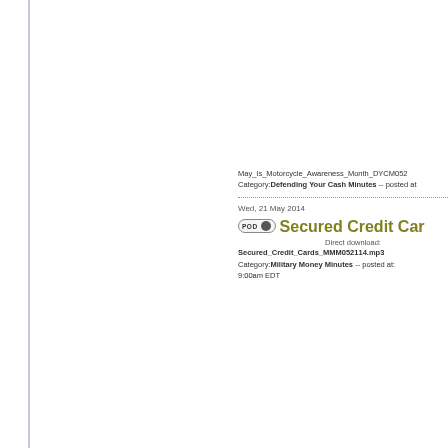May_Is_Motorcycle_Awareness_Month_DYCM052 Category:Defending Your Cash Minutes -- posted at
Wed, 21 May 2014
Secured Credit Car
Direct download: Secured_Credit_Cards_MMM052114.mp3 Category:Military Money Minutes -- posted at: 9:00am EDT